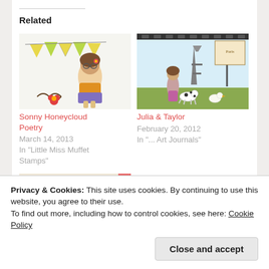Related
[Figure (illustration): Craft card image showing a cartoon girl with glasses and a bunny ear headband, yellow bunting banners, and a red flower, colored illustration style]
Sonny Honeycloud Poetry
March 14, 2013
In "Little Miss Muffet Stamps"
[Figure (illustration): Craft card image showing a cartoon girl in Paris with Eiffel Tower, a dalmatian dog, and decorative elements, collage style]
Julia & Taylor
February 20, 2012
In "... Art Journals"
[Figure (illustration): Partial view of a craft card image with cartoon figures, partially visible]
Privacy & Cookies: This site uses cookies. By continuing to use this website, you agree to their use.
To find out more, including how to control cookies, see here: Cookie Policy